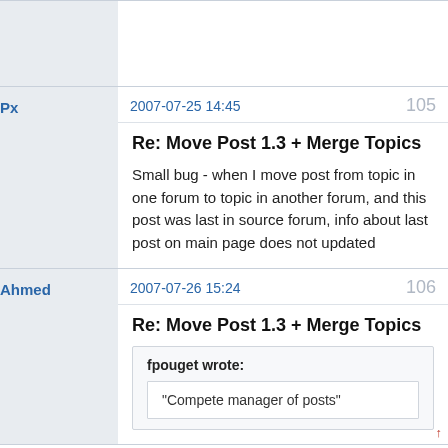Px
2007-07-25 14:45
105
Re: Move Post 1.3 + Merge Topics
Small bug - when I move post from topic in one forum to topic in another forum, and this post was last in source forum, info about last post on main page does not updated
Ahmed
2007-07-26 15:24
106
Re: Move Post 1.3 + Merge Topics
fpouget wrote:
"Compete manager of posts"